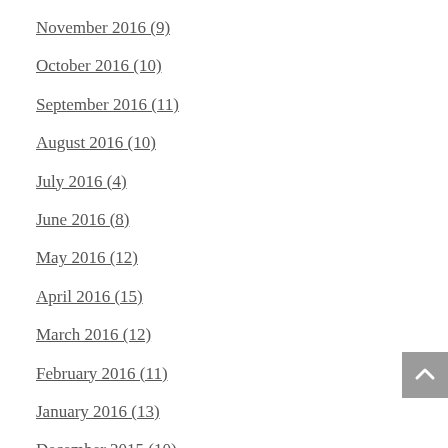November 2016 (9)
October 2016 (10)
September 2016 (11)
August 2016 (10)
July 2016 (4)
June 2016 (8)
May 2016 (12)
April 2016 (15)
March 2016 (12)
February 2016 (11)
January 2016 (13)
December 2015 (10)
November 2015 (14)